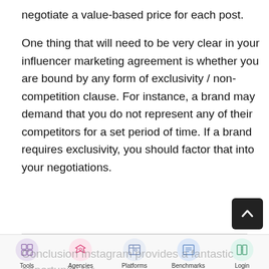negotiate a value-based price for each post.

One thing that will need to be very clear in your influencer marketing agreement is whether you are bound by any form of exclusivity / non-competition clause. For instance, a brand may demand that you do not represent any of their competitors for a set period of time. If a brand requires exclusivity, you should factor that into your negotiations.
Tools | Agencies | Platforms | Benchmarks | Login
Conclusion Instagram provides a fantastic opportunity for